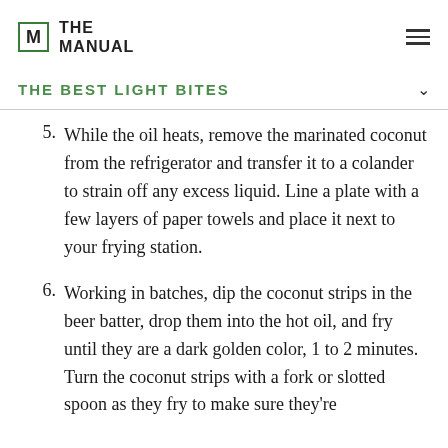THE MANUAL
THE BEST LIGHT BITES
5. While the oil heats, remove the marinated coconut from the refrigerator and transfer it to a colander to strain off any excess liquid. Line a plate with a few layers of paper towels and place it next to your frying station.
6. Working in batches, dip the coconut strips in the beer batter, drop them into the hot oil, and fry until they are a dark golden color, 1 to 2 minutes. Turn the coconut strips with a fork or slotted spoon as they fry to make sure they're